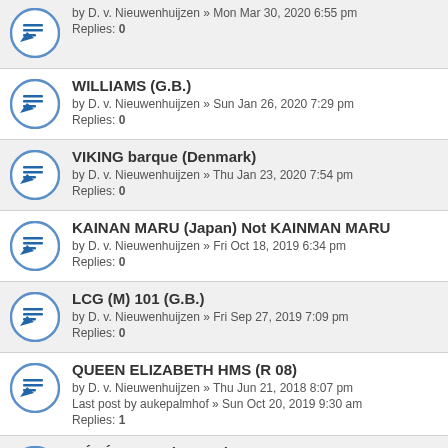by D. v. Nieuwenhuijzen » Mon Mar 30, 2020 6:55 pm
Replies: 0
WILLIAMS (G.B.)
by D. v. Nieuwenhuijzen » Sun Jan 26, 2020 7:29 pm
Replies: 0
VIKING barque (Denmark)
by D. v. Nieuwenhuijzen » Thu Jan 23, 2020 7:54 pm
Replies: 0
KAINAN MARU (Japan) Not KAINMAN MARU
by D. v. Nieuwenhuijzen » Fri Oct 18, 2019 6:34 pm
Replies: 0
LCG (M) 101 (G.B.)
by D. v. Nieuwenhuijzen » Fri Sep 27, 2019 7:09 pm
Replies: 0
QUEEN ELIZABETH HMS (R 08)
by D. v. Nieuwenhuijzen » Thu Jun 21, 2018 8:07 pm
Last post by aukepalmhof » Sun Oct 20, 2019 9:30 am
Replies: 1
NÉVÉ LH 277 (France)
by D. v. Nieuwenhuijzen » Thu Jun 14, 2018 6:30 pm
Replies: 0